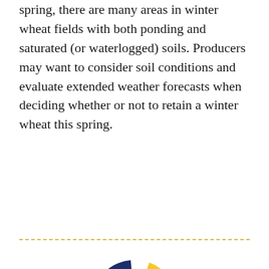spring, there are many areas in winter wheat fields with both ponding and saturated (or waterlogged) soils. Producers may want to consider soil conditions and evaluate extended weather forecasts when deciding whether or not to retain a winter wheat this spring.
[Figure (donut-chart): A partially visible donut chart with a dark navy blue segment (small) and a yellow/gold segment (large), shown as a loading or progress indicator style donut ring against a white background.]